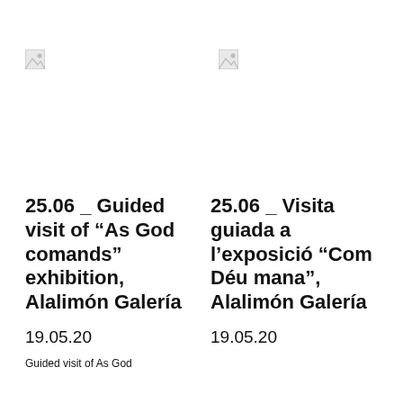[Figure (other): Broken image placeholder icon, left column]
[Figure (other): Broken image placeholder icon, right column]
25.06 _ Guided visit of “As God comands” exhibition, Alalimón Galería
25.06 _ Visita guiada a l’exposició “Com Déu mana”, Alalimón Galería
19.05.20
19.05.20
Guided visit of As God